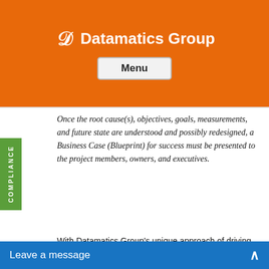Datamatics Group
Menu
Once the root cause(s), objectives, goals, measurements, and future state are understood and possibly redesigned, a Business Case (Blueprint) for success must be presented to the project members, owners, and executives.
With Datamatics Group's unique approach of driving success with process first, people second, and using technology simply as a tool, we help rescue and lead a successful project with realistic budgets, time frames, goals, and measurements.
On the Road to Recovery
Most often vendors a…
Leave a message